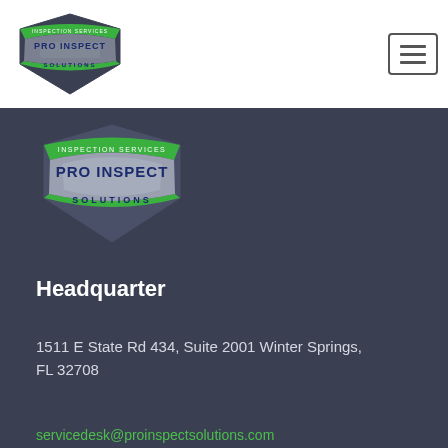[Figure (logo): Pro Inspect Solutions shield logo in top navigation bar]
[Figure (logo): Pro Inspect Solutions shield logo large in dark footer section]
Headquarter
1511 E State Rd 434, Suite 2001 Winter Springs, FL 32708
servicedesk@proinspectsolutions.com